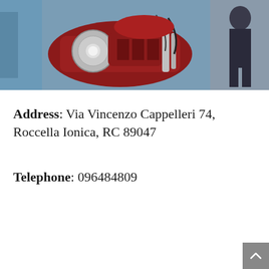[Figure (photo): Photo of a vintage red motorcycle engine/motorcycle with a blue vehicle partially visible on the left side and a person standing in the background on the right side.]
Address: Via Vincenzo Cappelleri 74, Roccella Ionica, RC 89047
Telephone: 096484809